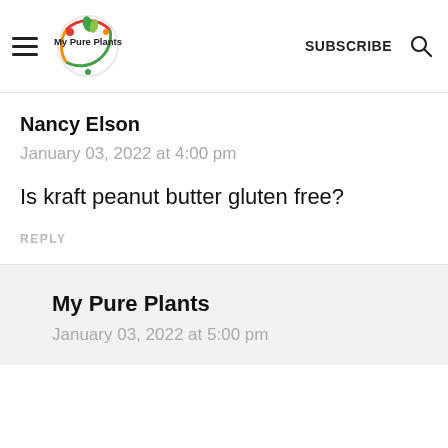My Pure Plants — SUBSCRIBE
Nancy Elson
January 03, 2022 at 4:00 pm
Is kraft peanut butter gluten free?
REPLY
My Pure Plants
January 03, 2022 at 5:00 pm